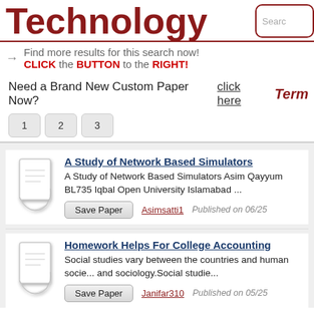Technology
Find more results for this search now! CLICK the BUTTON to the RIGHT!
Need a Brand New Custom Paper Now?  click here   Term
1  2  3
A Study of Network Based Simulators
A Study of Network Based Simulators Asim Qayyum BL735 Iqbal Open University Islamabad ...
Save Paper   Asimsatti1   Published on 06/25
Homework Helps For College Accounting
Social studies vary between the countries and human socie... and sociology.Social studie...
Save Paper   Janifar310   Published on 05/25